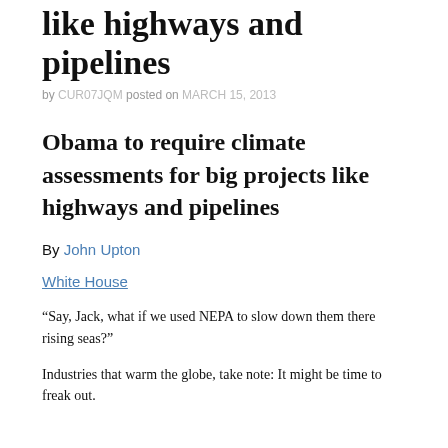like highways and pipelines
by CUR07JQM posted on MARCH 15, 2013
Obama to require climate assessments for big projects like highways and pipelines
By John Upton
White House
“Say, Jack, what if we used NEPA to slow down them there rising seas?”
Industries that warm the globe, take note: It might be time to freak out.